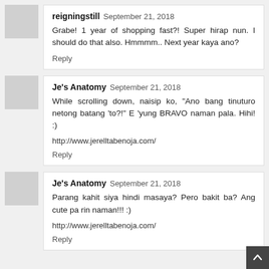reigningstill  September 21, 2018
Grabe! 1 year of shopping fast?! Super hirap nun. I should do that also. Hmmmm.. Next year kaya ano?
Reply
Je's Anatomy  September 21, 2018
While scrolling down, naisip ko, "Ano bang tinuturo netong batang 'to?!" E 'yung BRAVO naman pala. Hihi! :)
http://www.jerelltabenoja.com/
Reply
Je's Anatomy  September 21, 2018
Parang kahit siya hindi masaya? Pero bakit ba? Ang cute pa rin naman!!! :)
http://www.jerelltabenoja.com/
Reply